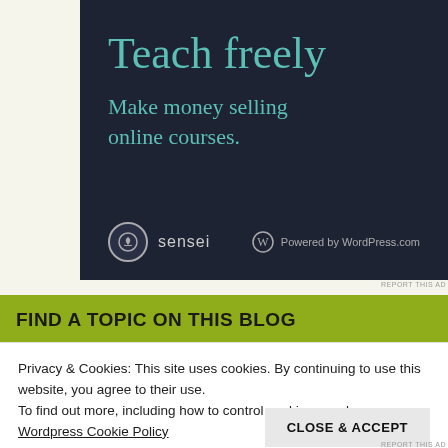[Figure (other): Dark navy advertisement banner for Sensei / WordPress.com. Headline 'Teach freely' in teal serif font. Subtext 'Make money selling online courses.' in teal. Bottom row shows Sensei logo (bonsai tree circle icon + 'sensei' text) and 'Powered by WordPress.com' with WordPress logo.]
FIND A TOPIC ON THIS BLOG
Privacy & Cookies: This site uses cookies. By continuing to use this website, you agree to their use.
To find out more, including how to control cookies, see here:
Wordpress Cookie Policy
CLOSE & ACCEPT